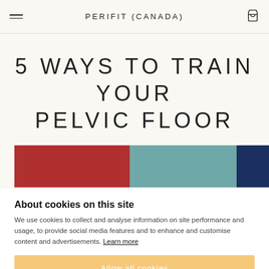PERIFIT (CANADA)
5 WAYS TO TRAIN YOUR PELVIC FLOOR
[Figure (infographic): Horizontal color bar with three segments: red on the left, teal/muted blue-green in the center, and dark navy on the right]
About cookies on this site
We use cookies to collect and analyse information on site performance and usage, to provide social media features and to enhance and customise content and advertisements. Learn more
Allow all cookies
Cookie settings